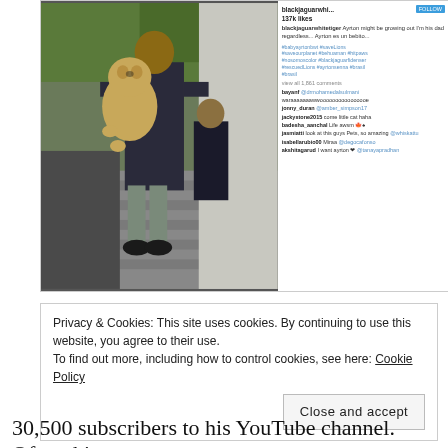[Figure (screenshot): Instagram post screenshot showing a man holding a lion cub on stairs. The sidebar shows username blackjaguarwhi..., FOLLOW button, 137k likes, caption about Ayrton with hashtags #babyayrtonbwt #saveLions etc., and several comments.]
Privacy & Cookies: This site uses cookies. By continuing to use this website, you agree to their use.
To find out more, including how to control cookies, see here: Cookie Policy
Close and accept
30,500 subscribers to his YouTube channel. Often, his